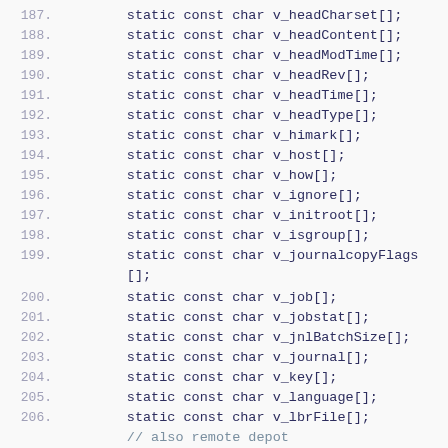187.     static const char v_headCharset[];
188.     static const char v_headContent[];
189.     static const char v_headModTime[];
190.     static const char v_headRev[];
191.     static const char v_headTime[];
192.     static const char v_headType[];
193.     static const char v_himark[];
194.     static const char v_host[];
195.     static const char v_how[];
196.     static const char v_ignore[];
197.     static const char v_initroot[];
198.     static const char v_isgroup[];
199.     static const char v_journalcopyFlags[];
200.     static const char v_job[];
201.     static const char v_jobstat[];
202.     static const char v_jnlBatchSize[];
203.     static const char v_journal[];
204.     static const char v_key[];
205.     static const char v_language[];
206.     static const char v_lbrFile[];
// also remote depot
207.     static const char v_lbrRev[];
// also remote depot
208.     static const char v_lbrType[];